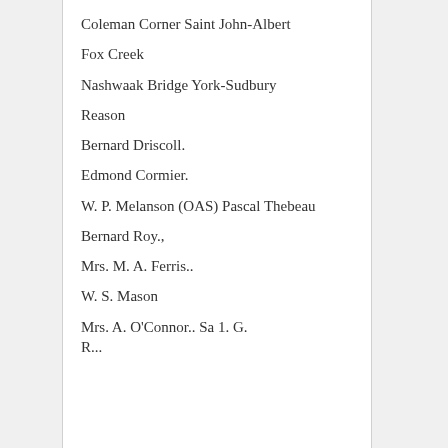Coleman Corner Saint John-Albert
Fox Creek
Nashwaak Bridge York-Sudbury
Reason
Bernard Driscoll.
Edmond Cormier.
W. P. Melanson (OAS) Pascal Thebeau
Bernard Roy.,
Mrs. M. A. Ferris..
W. S. Mason
Mrs. A. O'Connor.. Sa 1. G. R...